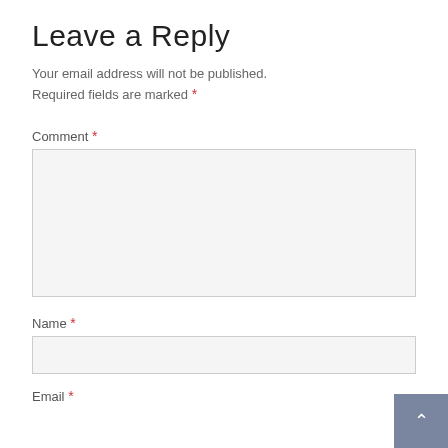Leave a Reply
Your email address will not be published. Required fields are marked *
Comment *
Name *
Email *